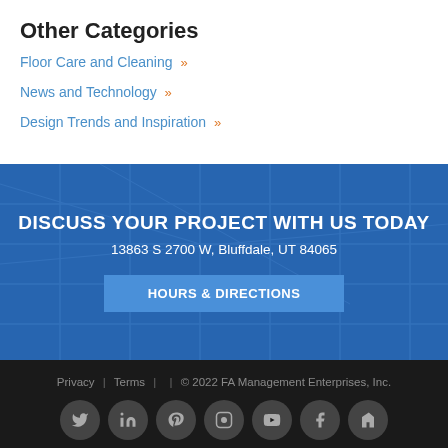Other Categories
Floor Care and Cleaning »
News and Technology »
Design Trends and Inspiration »
DISCUSS YOUR PROJECT WITH US TODAY
13863 S 2700 W,  Bluffdale, UT 84065
HOURS & DIRECTIONS
Privacy | Terms | © 2022 FA Management Enterprises, Inc.